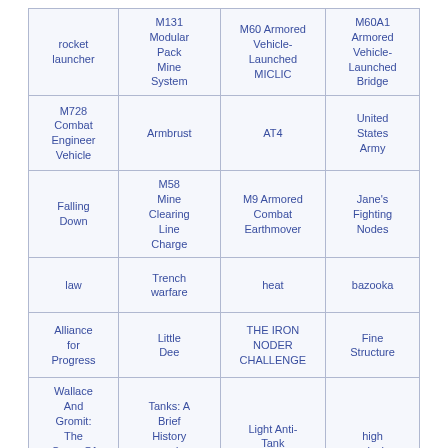| rocket launcher | M131 Modular Pack Mine System | M60 Armored Vehicle-Launched MICLIC | M60A1 Armored Vehicle-Launched Bridge |
| M728 Combat Engineer Vehicle | Armbrust | AT4 | United States Army |
| Falling Down | M58 Mine Clearing Line Charge | M9 Armored Combat Earthmover | Jane's Fighting Nodes |
| law | Trench warfare | heat | bazooka |
| Alliance for Progress | Little Dee | THE IRON NODER CHALLENGE | Fine Structure |
| Wallace And Gromit: The Curse Of The Were-Rabbit | Tanks: A Brief History and Hunting Guide | Light Anti-Tank Weapon | high explosive |